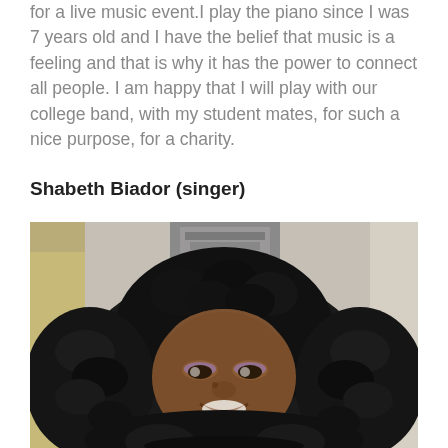for a live music event.I play the piano since I was 7 years old and I have the belief that music is a feeling and that is why it has the power to connect all people. I am happy that I will play with our college band, with my student mates, for such a nice purpose, for a charity.
Shabeth Biador (singer)
[Figure (photo): A smiling young woman with large curly black hair, photographed in a stairwell/hallway. She is wearing light makeup with purple eyeshadow. The background shows a staircase and beige walls.]